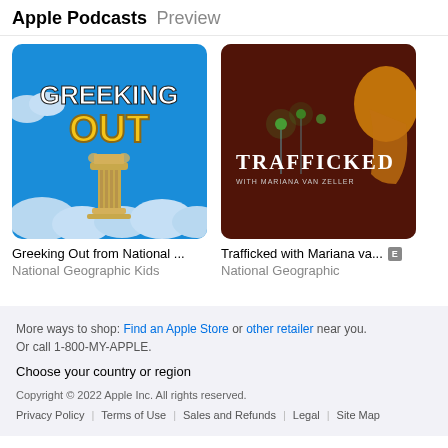Apple Podcasts Preview
[Figure (illustration): Podcast artwork for Greeking Out from National Geographic Kids - shows text GREEKING OUT in yellow on blue sky background with Greek column]
Greeking Out from National ...
National Geographic Kids
[Figure (illustration): Podcast artwork for Trafficked with Mariana van Zeller - dark red/brown background with TRAFFICKED text and face silhouette with green lights]
Trafficked with Mariana va... E
National Geographic
More ways to shop: Find an Apple Store or other retailer near you. Or call 1-800-MY-APPLE. Choose your country or region Copyright © 2022 Apple Inc. All rights reserved. Privacy Policy | Terms of Use | Sales and Refunds | Legal | Site Map